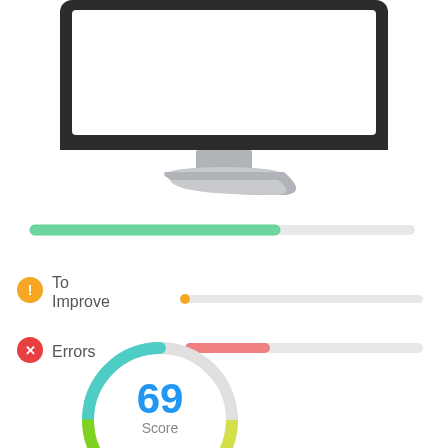[Figure (illustration): A desktop computer monitor illustration, mostly cropped at top, showing the screen and stand]
[Figure (infographic): Three horizontal progress bars with icons and labels: a green bar (no label, near-full), an orange icon with 'To Improve' label and a minimal orange dot bar, and a red X icon with 'Errors' label and a partial red bar. Below, a circular gauge showing score 69 with green-to-yellow gradient arc and gray remainder.]